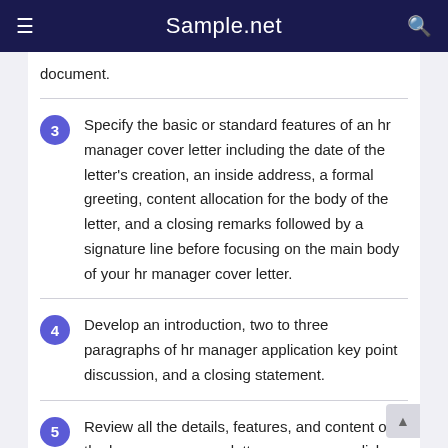Sample.net
document.
3  Specify the basic or standard features of an hr manager cover letter including the date of the letter's creation, an inside address, a formal greeting, content allocation for the body of the letter, and a closing remarks followed by a signature line before focusing on the main body of your hr manager cover letter.
4  Develop an introduction, two to three paragraphs of hr manager application key point discussion, and a closing statement.
5  Review all the details, features, and content of the hr manager cover letter so you can polish the entire document before handing it to employers.